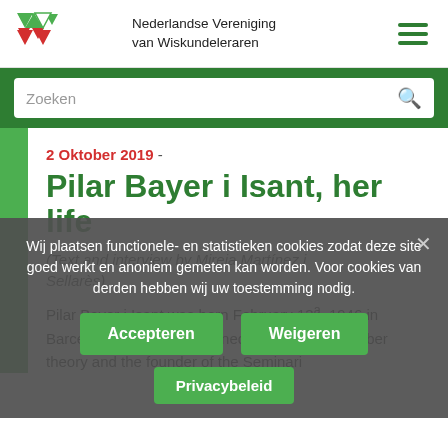Nederlandse Vereniging van Wiskundeleraren
Zoeken
2 Oktober 2019 -
Pilar Bayer i Isant, her life
(Text and interview by Mireia Martínez i Sellarès)
Wij plaatsen functionele- en statistieken cookies zodat deze site goed werkt en anoniem gemeten kan worden. Voor cookies van derden hebben wij uw toestemming nodig.
Accepteren
Weigeren
Privacybeleid
Pilar Bayer i Isant was born February 13ª, 1946 in Barcelona. She is a renowned specialist on number theory and the founder of the Seminari